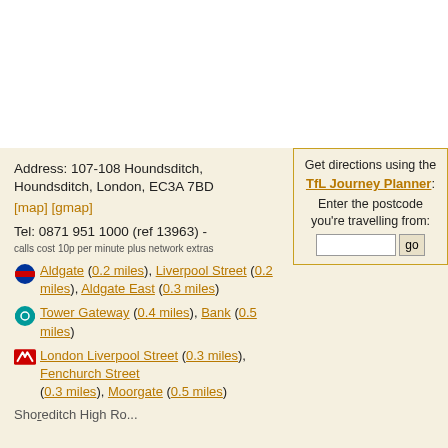Address: 107-108 Houndsditch, Houndsditch, London, EC3A 7BD
[map] [gmap]
Tel: 0871 951 1000 (ref 13963) -
calls cost 10p per minute plus network extras
Get directions using the TfL Journey Planner: Enter the postcode you're travelling from:
Aldgate (0.2 miles), Liverpool Street (0.2 miles), Aldgate East (0.3 miles)
Tower Gateway (0.4 miles), Bank (0.5 miles)
London Liverpool Street (0.3 miles), Fenchurch Street (0.3 miles), Moorgate (0.5 miles)
Shoreditch High Street...